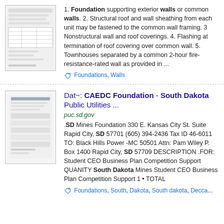[Figure (screenshot): Thumbnail preview of a document page with table content]
1. Foundation supporting exterior walls or common walls. 2. Structural roof and wall sheathing from each unit may be fastened to the common wall framing. 3 Nonstructural wall and roof coverings. 4. Flashing at termination of roof covering over common wall. 5. Townhouses separated by a common 2-hour fire-resistance-rated wall as provided in ...
Foundations, Walls
[Figure (screenshot): Thumbnail preview of a document with tables and text]
Dat~: CAEDC Foundation - South Dakota Public Utilities ...
puc.sd.gov
.SD Mines Foundation 330 E. Kansas City St. Suite Rapid City, SD 57701 (605) 394-2436 Tax ID 46-6011 TO: Black Hills Power -MC 50501 Attn: Pam Wiley P. Box 1400 Rapid City, SD 57709 DESCRIPTION .FOR: Student CEO Business Plan Competition Support QUANITY South Dakota Mines Student CEO Business Plan Competition Support 1 • TOTAL
Foundations, South, Dakota, South dakota, Decca...